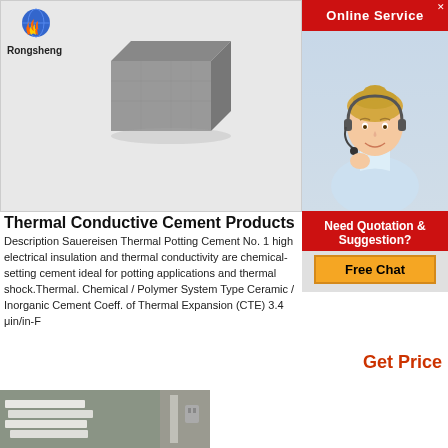[Figure (photo): Rongsheng logo with globe-flame icon above the text 'Rongsheng']
[Figure (photo): Gray cement/refractory brick block product photo on light gray background]
[Figure (photo): Online Service panel with red header bar showing 'Online Service', a customer service agent (blonde woman with headset), and a red 'Need Quotation & Suggestion?' section with an orange 'Free Chat' button]
Thermal Conductive Cement Products
Description Sauereisen Thermal Potting Cement No. 1 high electrical insulation and thermal conductivity are chemical-setting cement ideal for potting applications and thermal shock.Thermal. Chemical / Polymer System Type Ceramic / Inorganic Cement Coeff. of Thermal Expansion (CTE) 3.4 μin/in-F
Get Price
[Figure (photo): Partial view of white panels or boards stacked/leaning against a wall, bottom of page]